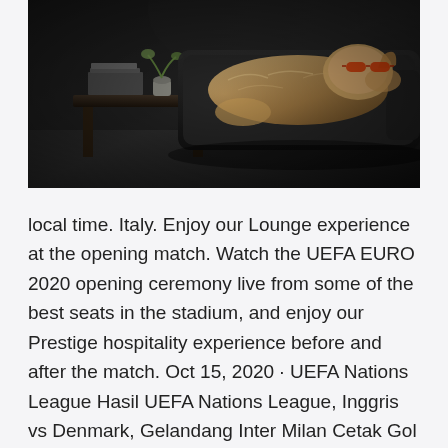[Figure (photo): A dog lying on a dark sofa indoors, with books and a small plant visible on a side table in the background. The scene is dimly lit with a dark, moody atmosphere.]
local time. Italy. Enjoy our Lounge experience at the opening match. Watch the UEFA EURO 2020 opening ceremony live from some of the best seats in the stadium, and enjoy our Prestige hospitality experience before and after the match. Oct 15, 2020 · UEFA Nations League Hasil UEFA Nations League, Inggris vs Denmark, Gelandang Inter Milan Cetak Gol Timnas Inggris dikalahkan Denmark 0-1 pada Liga A Grup 2 UEFA Nations League 2020-2021 di Stadion Wembley, Kamis (15/10/2020), pukul 01.45 WIB. Artikel lanjutan...